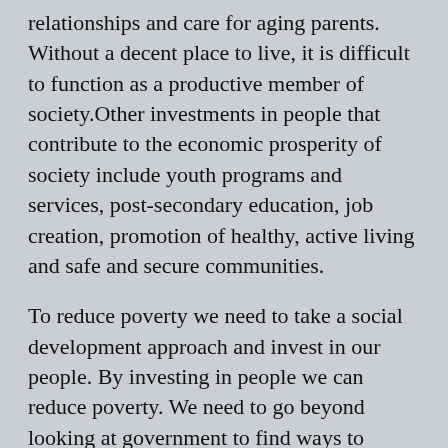relationships and care for aging parents. Without a decent place to live, it is difficult to function as a productive member of society.Other investments in people that contribute to the economic prosperity of society include youth programs and services, post-secondary education, job creation, promotion of healthy, active living and safe and secure communities.
To reduce poverty we need to take a social development approach and invest in our people. By investing in people we can reduce poverty. We need to go beyond looking at government to find ways to develop our most valuable resources, our people. We need to share responsibility with community organizations, businesses, universities and municipalities in the task of improving the well-being of all New Brunswickers and preventing and reducing poverty.